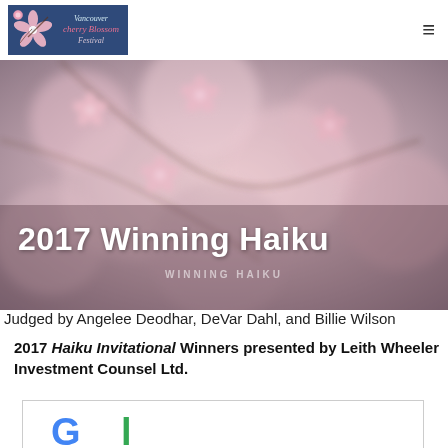[Figure (logo): Vancouver Cherry Blossom Festival logo on dark blue background with cherry blossom flowers]
[Figure (photo): Close-up photo of pink cherry blossom flowers in soft focus, serving as hero banner background]
2017 Winning Haiku
WINNING HAIKU
Judged by Angelee Deodhar, DeVar Dahl, and Billie Wilson
2017 Haiku Invitational Winners presented by Leith Wheeler Investment Counsel Ltd.
[Figure (logo): Partial Google logo visible at bottom of page]